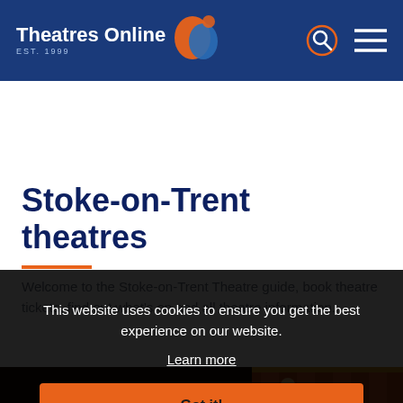Theatres Online EST. 1999
Stoke-on-Trent theatres
Welcome to the Stoke-on-Trent Theatre guide, book theatre tickets, find out what's on and all theatre information.
[Figure (screenshot): Theatre interior photo showing red seats and ornate columns]
This website uses cookies to ensure you get the best experience on our website.
Learn more
Got it!